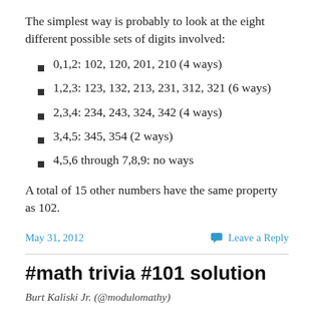The simplest way is probably to look at the eight different possible sets of digits involved:
0,1,2:  102, 120, 201, 210 (4 ways)
1,2,3:  123, 132, 213, 231, 312, 321 (6 ways)
2,3,4:  234, 243, 324, 342 (4 ways)
3,4,5:  345, 354 (2 ways)
4,5,6 through 7,8,9:  no ways
A total of 15 other numbers have the same property as 102.
May 31, 2012   Leave a Reply
#math trivia #101 solution
Burt Kaliski Jr. (@modulomathy)